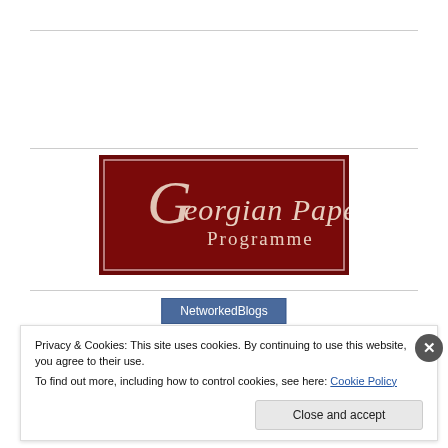[Figure (logo): Georgian Papers Programme logo — dark red/maroon rectangular background with white border, script 'Georgian Papers' text and serif 'Programme' text in cream/white]
NetworkedBlogs
Privacy & Cookies: This site uses cookies. By continuing to use this website, you agree to their use.
To find out more, including how to control cookies, see here: Cookie Policy
Close and accept